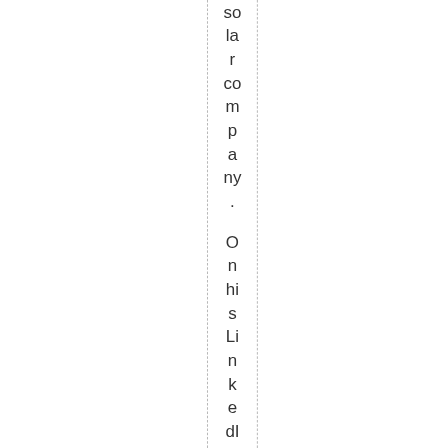solar company. On his LinkedIn page, he listed hi